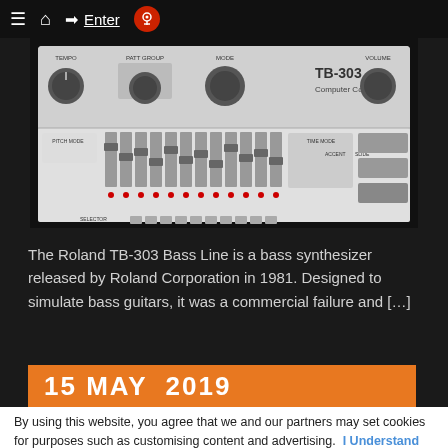≡  ⌂  → Enter  🎙
[Figure (photo): Roland TB-303 Bass Line synthesizer hardware unit, white/grey panel with knobs, sliders, and step sequencer buttons]
The Roland TB-303 Bass Line is a bass synthesizer released by Roland Corporation in 1981. Designed to simulate bass guitars, it was a commercial failure and […]
15 MAY  2019
By using this website, you agree that we and our partners may set cookies for purposes such as customising content and advertising.  I Understand